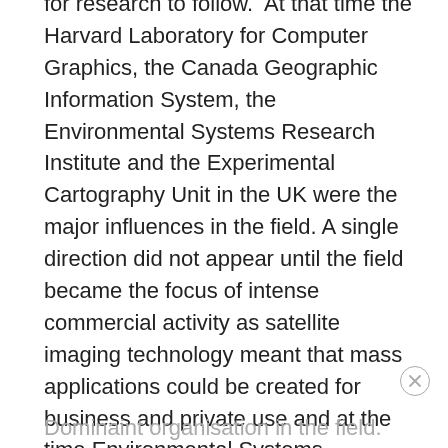for research to follow.  At that time the Harvard Laboratory for Computer Graphics, the Canada Geographic Information System, the Environmental Systems Research Institute and the Experimental Cartography Unit in the UK were the major influences in the field. A single direction did not appear until the field became the focus of intense commercial activity as satellite imaging technology meant that mass applications could be created for business and private use and at the time Environmental Systems Research Institute (Esri) became the dominant organisation in the field.
Dominaint organisation in the field.